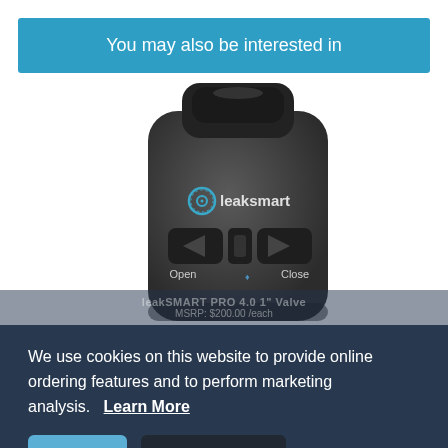You may also be interested in
[Figure (photo): LeakSmart device — dark gray remote control-shaped valve controller with Open and Close buttons and LeakSmart logo]
We use cookies on this website to provide online ordering features and to perform marketing analysis.   Learn More
leakSMART PRO 4.0 1" Valve
MSRP: $200.00 /each
Got it!
Do not track